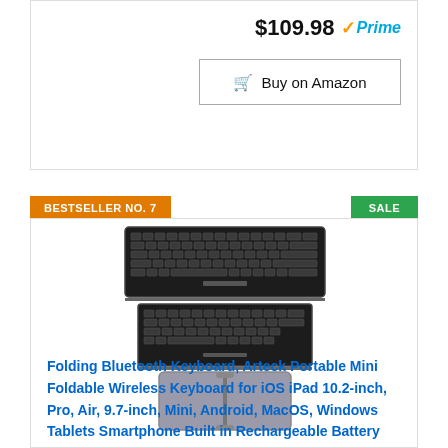$109.98 ✓Prime
Buy on Amazon
BESTSELLER NO. 7
SALE
[Figure (photo): A foldable Bluetooth keyboard shown in three positions: fully open (top), half-folded (middle), and fully folded/closed (bottom). The keyboard is black with silver folded case.]
Folding Bluetooth Keyboard, Arteck Portable Mini Foldable Wireless Keyboard for iOS iPad 10.2-inch, Pro, Air, 9.7-inch, Mini, Android, MacOS, Windows Tablets Smartphone Built in Rechargeable Battery